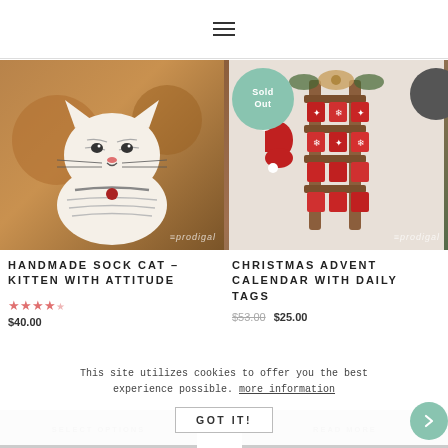☰ (hamburger menu icon)
[Figure (photo): Handmade sock cat plush toy with white stripes and cat face, posed against wooden logs background. Watermark: 'prodigal' visible at bottom right.]
[Figure (photo): Christmas advent calendar with daily tags - a wooden sled with red hanging pockets and tags, with red stocking and greenery. 'Sold Out' green circular badge overlaid top left. Watermark: 'prodigal' visible. Dark circle top right corner.]
HANDMADE SOCK CAT – KITTEN WITH ATTITUDE
CHRISTMAS ADVENT CALENDAR WITH DAILY TAGS
★★★★ (stars rating)
$40.00
$53.00  $25.00
This site utilizes cookies to offer you the best experience possible. more information
GOT IT!
SELECT OPTIONS
READ MORE